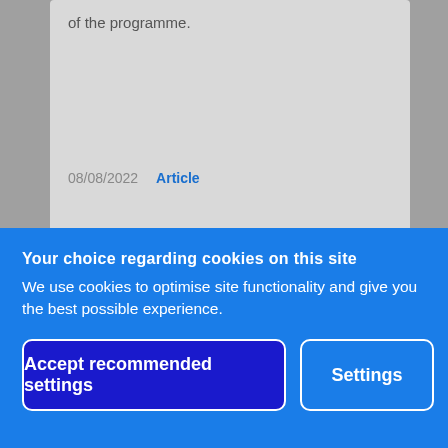of the programme.
08/08/2022   Article
[Figure (illustration): Golden/amber colored background with an architectural arch or dome outline visible at the bottom center]
Your choice regarding cookies on this site
We use cookies to optimise site functionality and give you the best possible experience.
Accept recommended settings
Settings